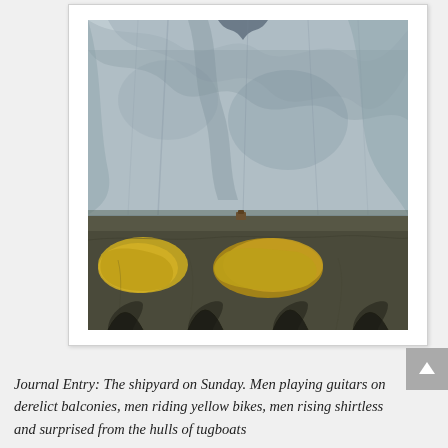[Figure (photo): A photograph showing a large wrinkled blue-grey tarpaulin or plastic sheeting draped over something, with the lower portion showing an old weathered concrete or stone wall with peeling yellow paint patches.]
Journal Entry: The shipyard on Sunday. Men playing guitars on derelict balconies, men riding yellow bikes, men rising shirtless and surprised from the hulls of tugboats